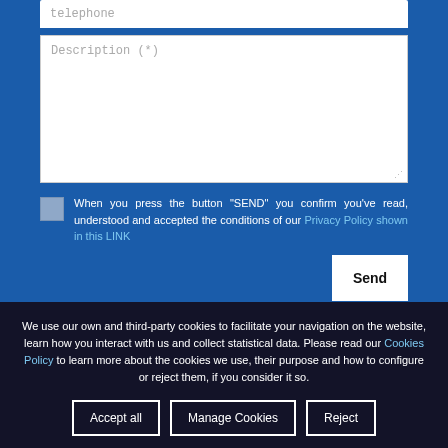telephone
[Figure (screenshot): Description (*) textarea input field with white background and resize handle]
When you press the button "SEND" you confirm you've read, understood and accepted the conditions of our Privacy Policy shown in this LINK
Send
We use our own and third-party cookies to facilitate your navigation on the website, learn how you interact with us and collect statistical data. Please read our Cookies Policy to learn more about the cookies we use, their purpose and how to configure or reject them, if you consider it so.
Accept all
Manage Cookies
Reject
QUESTION?